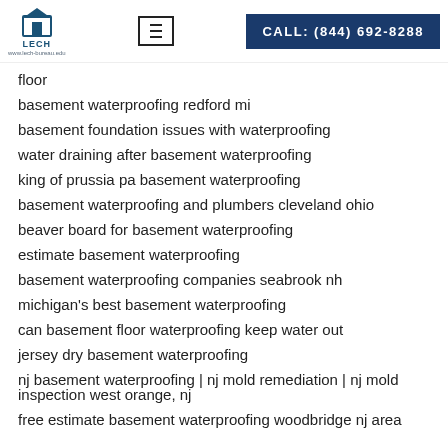LECH | CALL: (844) 692-8288
floor
basement waterproofing redford mi
basement foundation issues with waterproofing
water draining after basement waterproofing
king of prussia pa basement waterproofing
basement waterproofing and plumbers cleveland ohio
beaver board for basement waterproofing
estimate basement waterproofing
basement waterproofing companies seabrook nh
michigan's best basement waterproofing
can basement floor waterproofing keep water out
jersey dry basement waterproofing
nj basement waterproofing | nj mold remediation | nj mold inspection west orange, nj
free estimate basement waterproofing woodbridge nj area